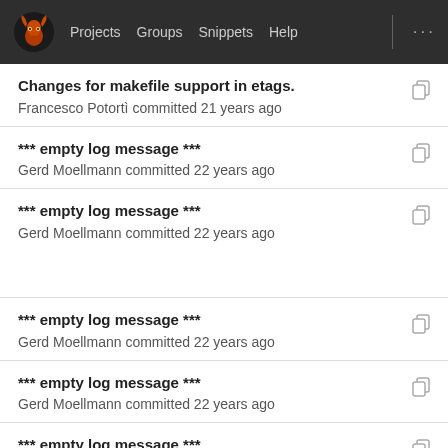Projects  Groups  Snippets  Help
Changes for makefile support in etags.
Francesco Potortì committed 21 years ago
*** empty log message ***
Gerd Moellmann committed 22 years ago
*** empty log message ***
Gerd Moellmann committed 22 years ago
*** empty log message ***
Gerd Moellmann committed 22 years ago
*** empty log message ***
Gerd Moellmann committed 22 years ago
*** empty log message ***
Gerd Moellmann committed 22 years ago